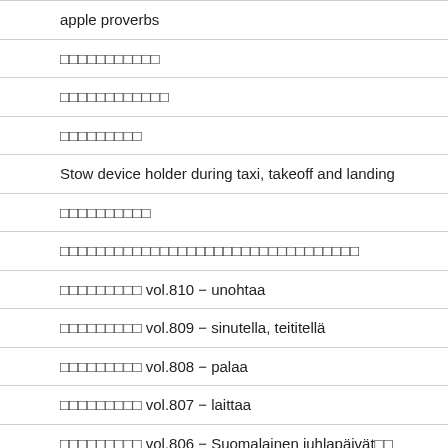apple proverbs
□□□□□□□□□□□
□□□□□□□□□□□□
□□□□□□□□□
Stow device holder during taxi, takeoff and landing
□□□□□□□□□□
□□□□□□□□□□□□□□□□□□□□□□□□□□□□□□□□□
□□□□□□□□□ vol.810 − unohtaa
□□□□□□□□□ vol.809 − sinutella, teititellä
□□□□□□□□□ vol.808 − palaa
□□□□□□□□□ vol.807 − laittaa
□□□□□□□□□ vol.806 − Suomalainen juhlapäivät□□
□□□□□□□□□ vol.805 − Suomalainen juhlapäivät□□